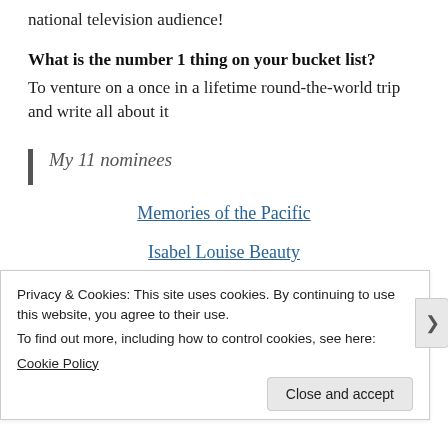national television audience!
What is the number 1 thing on your bucket list?
To venture on a once in a lifetime round-the-world trip and write all about it
My 11 nominees
Memories of the Pacific
Isabel Louise Beauty
Lavender and Honey
Privacy & Cookies: This site uses cookies. By continuing to use this website, you agree to their use.
To find out more, including how to control cookies, see here:
Cookie Policy
Close and accept